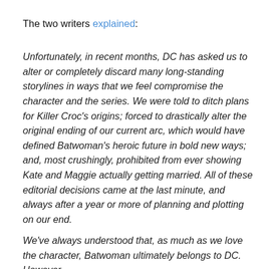The two writers explained:
Unfortunately, in recent months, DC has asked us to alter or completely discard many long-standing storylines in ways that we feel compromise the character and the series. We were told to ditch plans for Killer Croc's origins; forced to drastically alter the original ending of our current arc, which would have defined Batwoman's heroic future in bold new ways; and, most crushingly, prohibited from ever showing Kate and Maggie actually getting married. All of these editorial decisions came at the last minute, and always after a year or more of planning and plotting on our end.
We've always understood that, as much as we love the character, Batwoman ultimately belongs to DC. However,